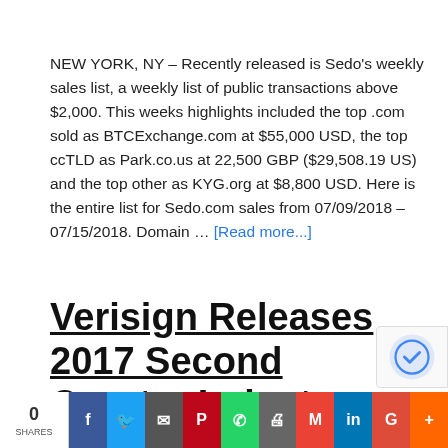NEW YORK, NY – Recently released is Sedo's weekly sales list, a weekly list of public transactions above $2,000. This weeks highlights included the top .com sold as BTCExchange.com at $55,000 USD, the top ccTLD as Park.co.us at 22,500 GBP ($29,508.19 US) and the top other as KYG.org at $8,800 USD. Here is the entire list for Sedo.com sales from 07/09/2018 – 07/15/2018. Domain … [Read more...]
Verisign Releases 2017 Second Quarter Industry Brief on